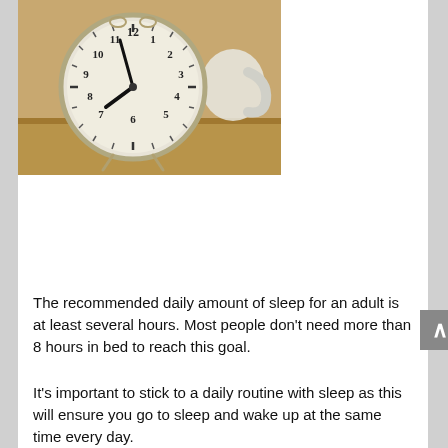[Figure (photo): A white analog alarm clock showing approximately 7:37, placed on a wooden surface next to a white mug, with warm background lighting.]
The recommended daily amount of sleep for an adult is at least several hours. Most people don't need more than 8 hours in bed to reach this goal.
It's important to stick to a daily routine with sleep as this will ensure you go to sleep and wake up at the same time every day.